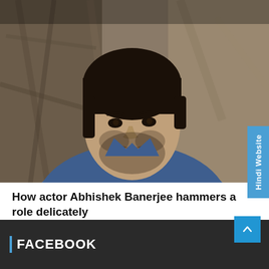[Figure (photo): A man with short dark hair and a beard wearing a dark blue/denim shirt, looking to the side. Background appears textured/earthy. Portrait-style photo of actor Abhishek Banerjee.]
How actor Abhishek Banerjee hammers a role delicately
August 20, 2022   Absolute India
FACEBOOK